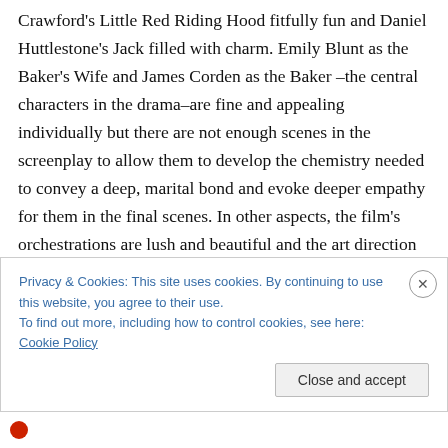Crawford's Little Red Riding Hood fitfully fun and Daniel Huttlestone's Jack filled with charm. Emily Blunt as the Baker's Wife and James Corden as the Baker –the central characters in the drama–are fine and appealing individually but there are not enough scenes in the screenplay to allow them to develop the chemistry needed to convey a deep, marital bond and evoke deeper empathy for them in the final scenes. In other aspects, the film's orchestrations are lush and beautiful and the art direction is compelling, although I found it too dark at the onset—an example of what I think is one of the film's most
Privacy & Cookies: This site uses cookies. By continuing to use this website, you agree to their use.
To find out more, including how to control cookies, see here: Cookie Policy
Close and accept